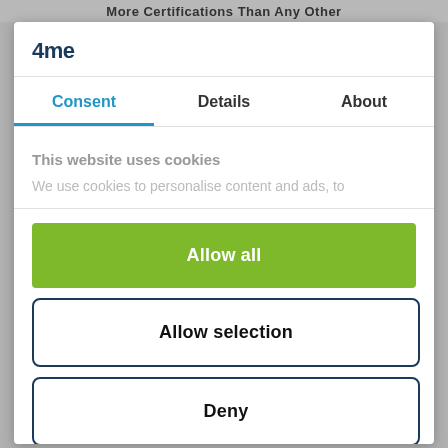More Certifications Than Any Other
[Figure (logo): 4me logo — bold dark blue text reading '4me']
Consent | Details | About
This website uses cookies
We use cookies to personalise content and ads, to
Allow all
Allow selection
Deny